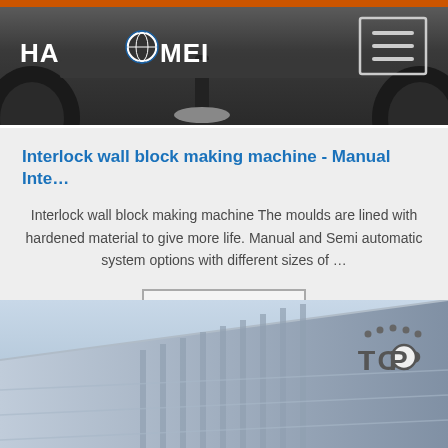[Figure (photo): Dark background photo showing heavy machinery undercarriage with wheels, tires, and mechanical components. Orange bar visible at top. HAOMEI logo at top-left. Hamburger menu button at top-right.]
Interlock wall block making machine - Manual Inte…
Interlock wall block making machine The moulds are lined with hardened material to give more life. Manual and Semi automatic system options with different sizes of …
Get Price
[Figure (photo): Photo of a large industrial building exterior with diagonal roof line, vertical window strips, and a 'TOP' navigation button overlay in the bottom-right corner.]